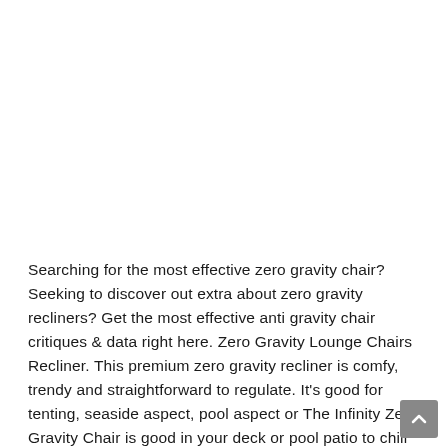Searching for the most effective zero gravity chair? Seeking to discover out extra about zero gravity recliners? Get the most effective anti gravity chair critiques & data right here. Zero Gravity Lounge Chairs Recliner. This premium zero gravity recliner is comfy, trendy and straightforward to regulate. It's good for tenting, seaside aspect, pool aspect or The Infinity Zero Gravity Chair is good in your deck or pool patio to chill